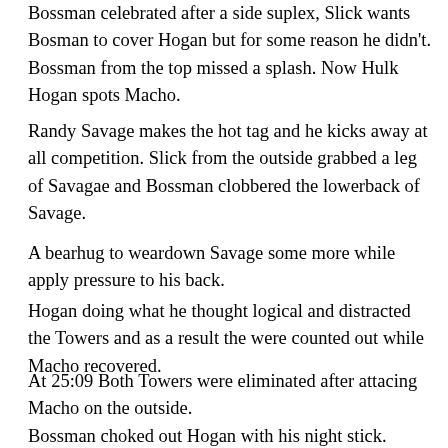Bossman celebrated after a side suplex, Slick wants Bosman to cover Hogan but for some reason he didn't. Bossman from the top missed a splash. Now Hulk Hogan spots Macho.
Randy Savage makes the hot tag and he kicks away at all competition. Slick from the outside grabbed a leg of Savagae and Bossman clobbered the lowerback of Savage.
A bearhug to weardown Savage some more while apply pressure to his back.
Hogan doing what he thought logical and distracted the Towers and as a result the were counted out while Macho recovered.
At 25:09 Both Towers were eliminated after attacing Macho on the outside.
Bossman choked out Hogan with his night stick.
Haku and Akeem double teamed Savage in the ring